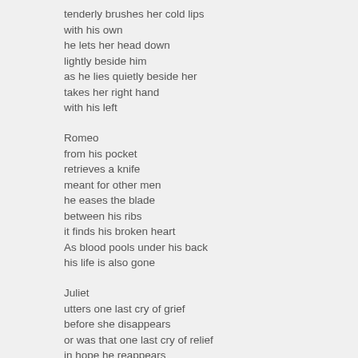tenderly brushes her cold lips
with his own
he lets her head down
lightly beside him
as he lies quietly beside her
takes her right hand
with his left

Romeo
from his pocket
retrieves a knife
meant for other men
he eases the blade
between his ribs
it finds his broken heart
As blood pools under his back
his life is also gone

Juliet
utters one last cry of grief
before she disappears
or was that one last cry of relief
in hope he reappears